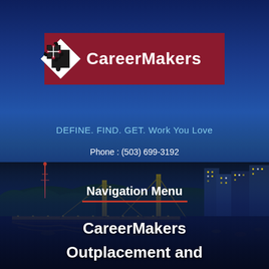[Figure (logo): CareerMakers logo: puzzle piece diamond shape on dark red/maroon background with white bold text 'CareerMakers']
DEFINE. FIND. GET. Work You Love
Phone : (503) 699-3192
Navigation Menu
[Figure (photo): Night cityscape of Portland Oregon showing illuminated bridges over the Willamette River with buildings lit up against a blue night sky]
CareerMakers
Outplacement and